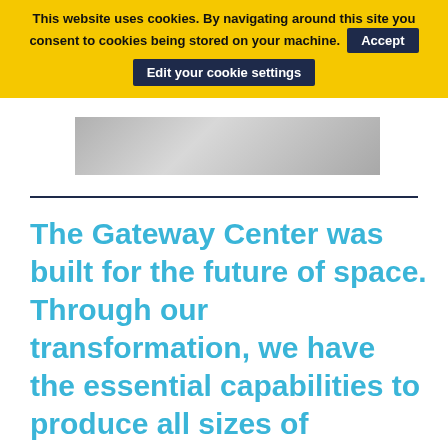This website uses cookies. By navigating around this site you consent to cookies being stored on your machine. Accept | Edit your cookie settings
[Figure (photo): Partial view of a photo showing hardware or equipment, partially visible behind cookie banner]
The Gateway Center was built for the future of space. Through our transformation, we have the essential capabilities to produce all sizes of satellites in one facility — faster than ever before. We can serve a variety of mission